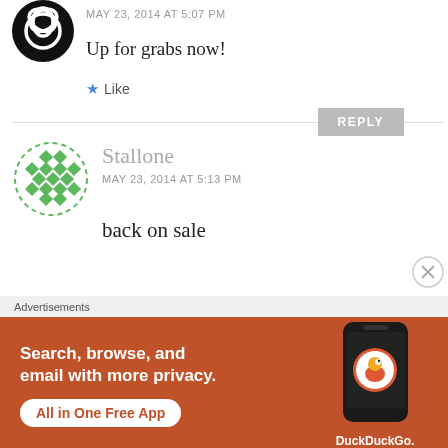[Figure (logo): Black circular avatar with Celtic knot / triquetra symbol in white]
MAY 23, 2014 AT 5:07 PM
Up for grabs now!
★ Like
REPLY
[Figure (logo): Green diamond grid pattern avatar on white background with dashed circle border]
Stallone
MAY 23, 2014 AT 5:13 PM
back on sale
Advertisements
[Figure (infographic): DuckDuckGo advertisement banner with orange background. Text: Search, browse, and email with more privacy. All in One Free App. Shows a smartphone with DuckDuckGo logo and brand name.]